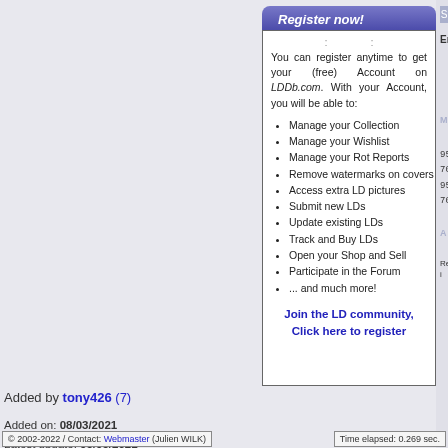Register now!
You can register anytime to get your (free) Account on LDDb.com. With your Account, you will be able to:
Manage your Collection
Manage your Wishlist
Manage your Rot Reports
Remove watermarks on covers
Access extra LD pictures
Submit new LDs
Update existing LDs
Track and Buy LDs
Open your Shop and Sell
Participate in the Forum
... and much more!
Join the LD community, Click here to register
Spoken Language
Mint Marks sample
95-708A1-06  25H8
95-708B1-03  25H8
Additional Info
Re-issued in 1990 with th the original release, remo barcode.
Added by tony426 (7)
Added on: 08/03/2021
Latest update: 08/03/2021
User updates processed: 1
© 2002-2022 / Contact: Webmaster (Julien WILK)
Time elapsed: 0.269 sec.